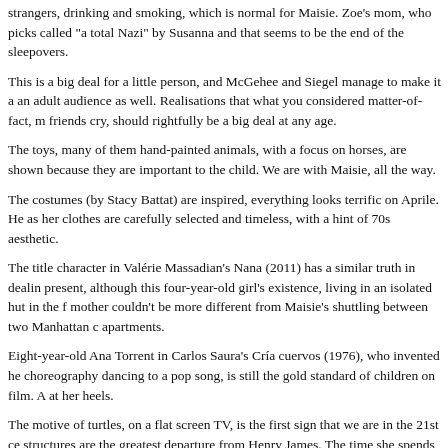strangers, drinking and smoking, which is normal for Maisie. Zoe's mom, who picks called "a total Nazi" by Susanna and that seems to be the end of the sleepovers.
This is a big deal for a little person, and McGehee and Siegel manage to make it a an adult audience as well. Realisations that what you considered matter-of-fact, m friends cry, should rightfully be a big deal at any age.
The toys, many of them hand-painted animals, with a focus on horses, are shown because they are important to the child. We are with Maisie, all the way.
The costumes (by Stacy Battat) are inspired, everything looks terrific on Aprile. He as her clothes are carefully selected and timeless, with a hint of 70s aesthetic.
The title character in Valérie Massadian's Nana (2011) has a similar truth in dealin present, although this four-year-old girl's existence, living in an isolated hut in the f mother couldn't be more different from Maisie's shuttling between two Manhattan c apartments.
Eight-year-old Ana Torrent in Carlos Saura's Cría cuervos (1976), who invented he choreography dancing to a pop song, is still the gold standard of children on film. A at her heels.
The motive of turtles, on a flat screen TV, is the first sign that we are in the 21st ce structures are the greatest departure from Henry James. The time she spends with is a matter of days, not months. A visit to Turtle Pond in Central Park and a turtle p Chinatown stand in for the dragon of maturity
Alexander Skarsgård plays the mother's new husband, Lincoln, and he is magical girl. Their first adventure together is crossing a busy street and Maisie wordlessly i on how that is done responsibly with a six-year-old. "I married him for you," says h Moore's face reflects from one split second to the next, deceit, fear, and comfort. J most outstanding banner, with terrible emotional consequences for her child. The